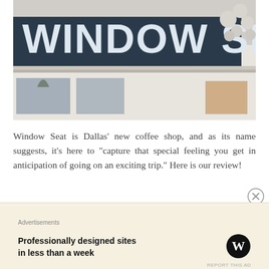[Figure (photo): Exterior storefront photo showing a large sign reading 'WINDOW SEAT' in bold dark blue letters mounted on a white building facade with decorative architectural molding]
Window Seat is Dallas' new coffee shop, and as its name suggests, it's here to "capture that special feeling you get in anticipation of going on an exciting trip." Here is our review!
Advertisements
Professionally designed sites in less than a week